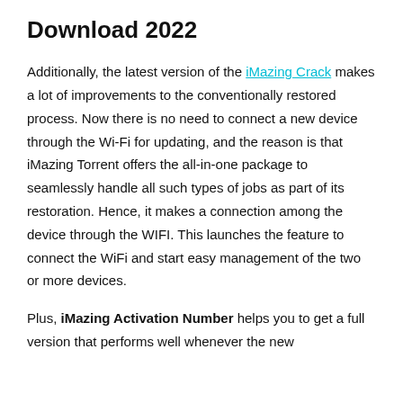Download 2022
Additionally, the latest version of the iMazing Crack makes a lot of improvements to the conventionally restored process. Now there is no need to connect a new device through the Wi-Fi for updating, and the reason is that iMazing Torrent offers the all-in-one package to seamlessly handle all such types of jobs as part of its restoration. Hence, it makes a connection among the device through the WIFI. This launches the feature to connect the WiFi and start easy management of the two or more devices.
Plus, iMazing Activation Number helps you to get a full version that performs well whenever the new